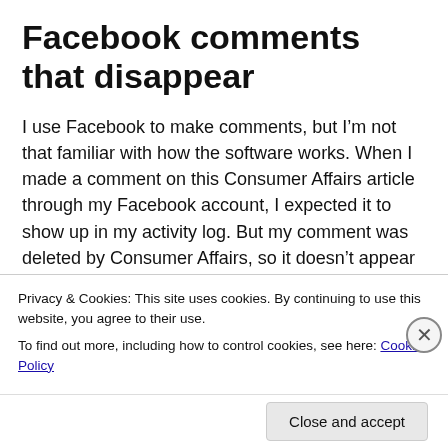Facebook comments that disappear
I use Facebook to make comments, but I’m not that familiar with how the software works. When I made a comment on this Consumer Affairs article through my Facebook account, I expected it to show up in my activity log. But my comment was deleted by Consumer Affairs, so it doesn’t appear in my Facebook account. (I guess everybody hates — and prefers to silence — a critic.)
Privacy & Cookies: This site uses cookies. By continuing to use this website, you agree to their use.
To find out more, including how to control cookies, see here: Cookie Policy
Close and accept